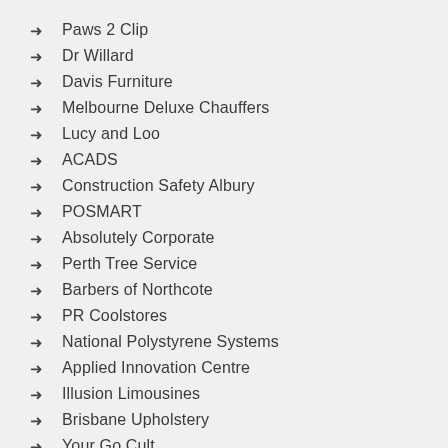Paws 2 Clip
Dr Willard
Davis Furniture
Melbourne Deluxe Chauffers
Lucy and Loo
ACADS
Construction Safety Albury
POSMART
Absolutely Corporate
Perth Tree Service
Barbers of Northcote
PR Coolstores
National Polystyrene Systems
Applied Innovation Centre
Illusion Limousines
Brisbane Upholstery
Your Gu Cult...